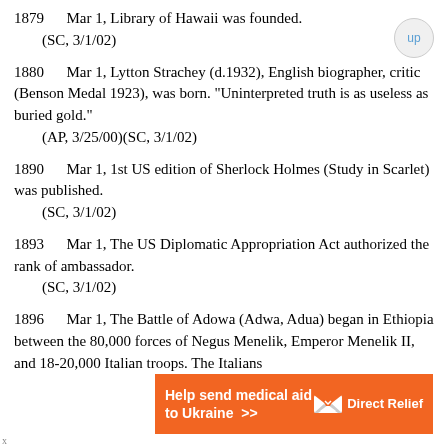1879    Mar 1, Library of Hawaii was founded.
    (SC, 3/1/02)
1880    Mar 1, Lytton Strachey (d.1932), English biographer, critic (Benson Medal 1923), was born. "Uninterpreted truth is as useless as buried gold."
    (AP, 3/25/00)(SC, 3/1/02)
1890    Mar 1, 1st US edition of Sherlock Holmes (Study in Scarlet) was published.
    (SC, 3/1/02)
1893    Mar 1, The US Diplomatic Appropriation Act authorized the rank of ambassador.
    (SC, 3/1/02)
1896    Mar 1, The Battle of Adowa (Adwa, Adua) began in Ethiopia between the 80,000 forces of Negus Menelik, Emperor Menelik II, and 18-20,000 Italian troops. The Italians
[Figure (other): Orange advertisement banner for Direct Relief: 'Help send medical aid to Ukraine >>' with DirectRelief logo (white envelope icon with arrow)]